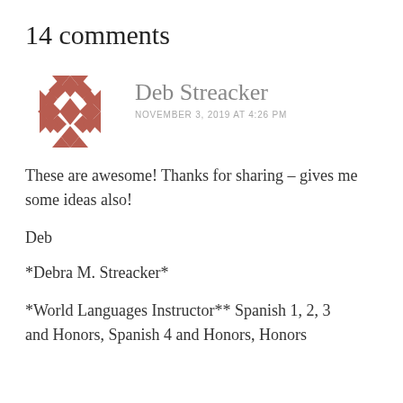14 comments
[Figure (illustration): Decorative geometric quilt-pattern avatar in reddish-brown/terracotta color]
Deb Streacker
NOVEMBER 3, 2019 AT 4:26 PM
These are awesome! Thanks for sharing – gives me some ideas also!
Deb
*Debra M. Streacker*
*World Languages Instructor** Spanish 1, 2, 3 and Honors, Spanish 4 and Honors, Honors